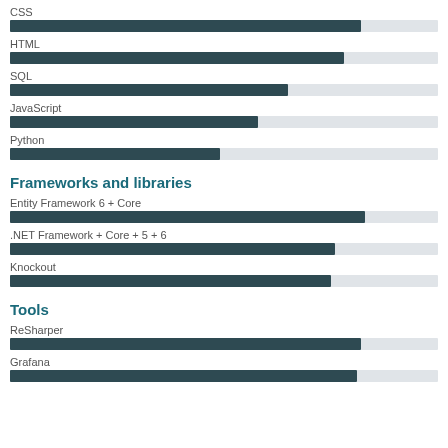CSS
[Figure (bar-chart): CSS]
HTML
[Figure (bar-chart): HTML]
SQL
[Figure (bar-chart): SQL]
JavaScript
[Figure (bar-chart): JavaScript]
Python
[Figure (bar-chart): Python]
Frameworks and libraries
Entity Framework 6 + Core
[Figure (bar-chart): ]
.NET Framework + Core + 5 + 6
[Figure (bar-chart): ]
Knockout
[Figure (bar-chart): ]
Tools
ReSharper
[Figure (bar-chart): ]
Grafana
[Figure (bar-chart): ]